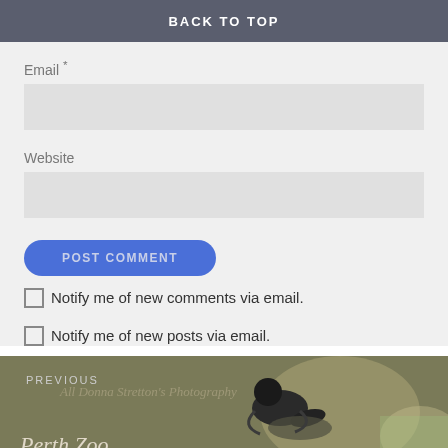BACK TO TOP
Email *
Website
POST COMMENT
Notify me of new comments via email.
Notify me of new posts via email.
PREVIOUS
Perth Zoo